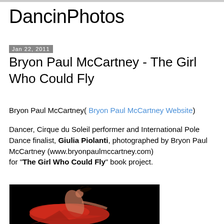DancinPhotos
Jan 22, 2011
Bryon Paul McCartney - The Girl Who Could Fly
Bryon Paul McCartney( Bryon Paul McCartney Website)
Dancer, Cirque du Soleil performer and International Pole Dance finalist, Giulia Piolanti, photographed by Bryon Paul McCartney (www.bryonpaulmccartney.com) for "The Girl Who Could Fly" book project.
[Figure (photo): Dancer Giulia Piolanti in a red flowing costume against a black background, performing a dramatic spinning pose with hair flying.]